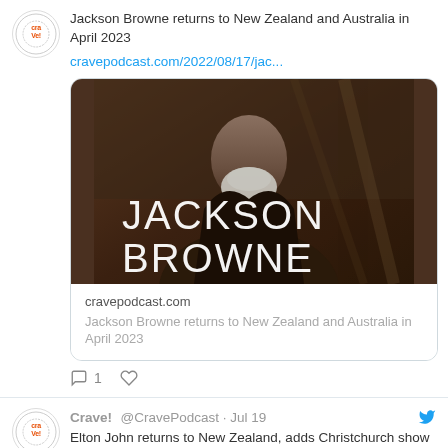[Figure (screenshot): First tweet: Crave podcast logo avatar, tweet text about Jackson Browne returning to NZ and Australia in April 2023, link card with Jackson Browne photo and cravepodcast.com domain, comment and like action icons]
Jackson Browne returns to New Zealand and Australia in April 2023
cravepodcast.com/2022/08/17/jac...
[Figure (photo): Jackson Browne promotional photo with his name in large white text over dark image]
cravepodcast.com
Jackson Browne returns to New Zealand and Australia in April 2023
1
Crave! @CravePodcast · Jul 19
Elton John returns to New Zealand, adds Christchurch show in January 2023: